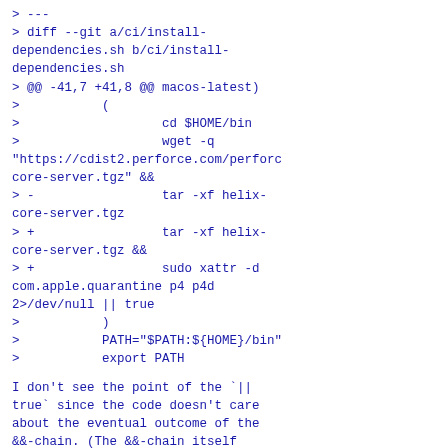> ---
> diff --git a/ci/install-dependencies.sh b/ci/install-dependencies.sh
> @@ -41,7 +41,8 @@ macos-latest)
>           (
>                   cd $HOME/bin
>                   wget -q "https://cdist2.perforce.com/perforce-core-server.tgz" &&
> -                 tar -xf helix-core-server.tgz
> +                 tar -xf helix-core-server.tgz &&
> +                 sudo xattr -d com.apple.quarantine p4 p4d 2>/dev/null || true
>           )
>           PATH="$PATH:${HOME}/bin"
>           export PATH
I don't see the point of the `|| true` since the code doesn't care about the eventual outcome of the &&-chain. (The &&-chain itself makes sense, though, to avoid executing commands pointlessly if an earlier step failed.) May not be worth a reroll, though.